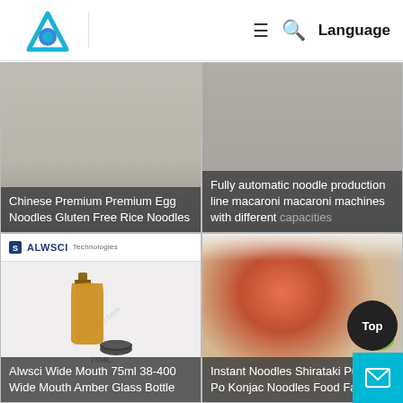Logo | ≡ 🔍 Language
[Figure (photo): Product image card – Chinese Premium Premium Egg Noodles Gluten Free Rice Noodles]
Chinese Premium Premium Egg Noodles Gluten Free Rice Noodles
[Figure (photo): Fully automatic noodle production line macaroni macaroni machines with different capacities (partially cut off)]
Fully automatic noodle production line macaroni macaroni machines with different capacities
[Figure (photo): Alwsci Wide Mouth 75ml 38-400 Wide Mouth Amber Glass Bottle product image with Alwsci logo]
Alwsci Wide Mouth 75ml 38-400 Wide Mouth Amber Glass Bottle
[Figure (photo): Instant Noodles Shirataki Purple Po Konjac Noodles Food Factory]
Instant Noodles Shirataki Purple Po Konjac Noodles Food Factory